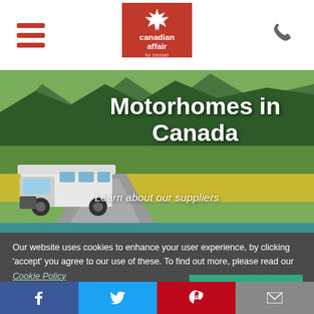Canadian Affair by Transat — navigation header with hamburger menu, logo, and phone icon
[Figure (photo): Hero image of a motorhome on a road surrounded by green trees and mountains, with text overlay 'Motorhomes in Canada' and subtitle 'Learn about our suppliers']
Motorhomes in Canada
Learn about our suppliers
Our website uses cookies to enhance your user experience, by clicking 'accept' you agree to our use of these. To find out more, please read our Cookie Policy
Accept & Close >
Social share buttons: Facebook, Twitter, Pinterest, Email